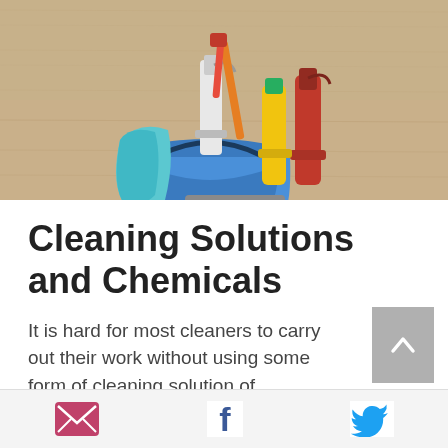[Figure (photo): A blue bucket filled with cleaning supplies including spray bottles, a red bottle, a yellow bottle, a cyan cloth, and a brush/dustpan set, placed on a wooden floor background.]
Cleaning Solutions and Chemicals
It is hard for most cleaners to carry out their work without using some form of cleaning solution of chemica...
[Figure (infographic): Share bar with email (envelope), Facebook, and Twitter icons]